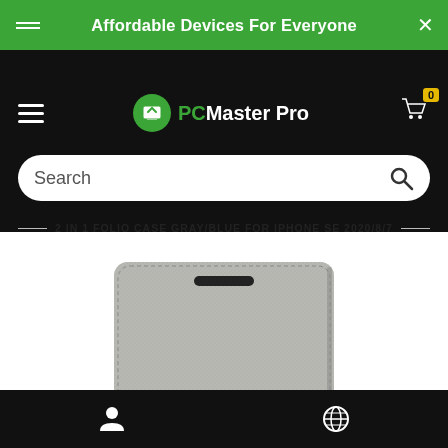Affordable Devices For Everyone
[Figure (logo): PCMaster Pro logo with green circle and shopping cart icon showing badge 0]
Search
2 IN 1 FOLIO CASE GRAY/BLUE FOR IPHONE SE 2020/8/7
[Figure (photo): Gray fabric texture folio phone case, front cover view, with stitched edges and camera cutout]
User icon and globe icon navigation bar